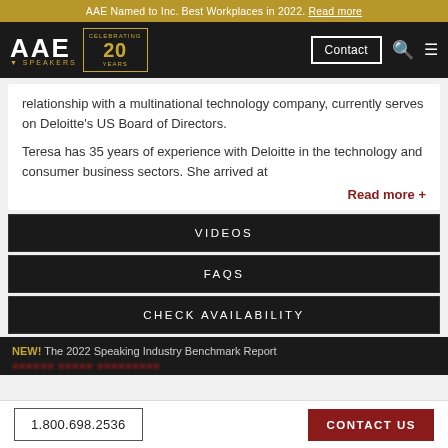AAE Named to Inc. Best Workplaces in 2022. Read more
[Figure (logo): AAE Speakers logo with 20 Years Celebrating badge, Contact button, search and menu icons on black navigation bar]
relationship with a multinational technology company, currently serves on Deloitte's US Board of Directors.
Teresa has 35 years of experience with Deloitte in the technology and consumer business sectors. She arrived at
Read more +
VIDEOS
FAQS
CHECK AVAILABILITY
NEW! The 2022 Speaking Industry Benchmark Report
1.800.698.2536  CONTACT US